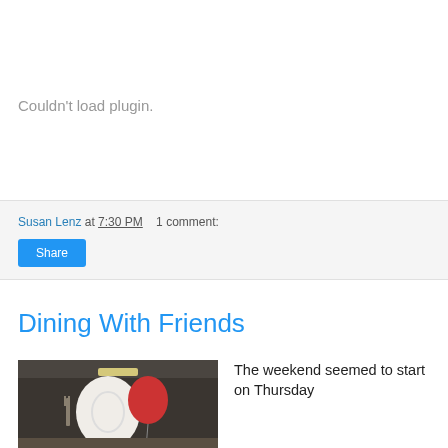[Figure (other): Plugin placeholder area showing 'Couldn't load plugin.' message]
Susan Lenz at 7:30 PM   1 comment:
Share
Dining With Friends
[Figure (photo): Photo of balloons and table setting at a dining event]
The weekend seemed to start on Thursday